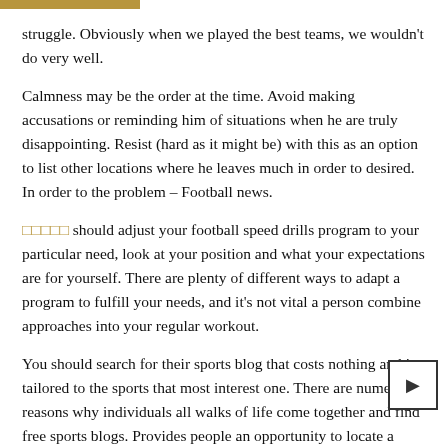...r get our weather this time shape, we would struggle. Obviously when we played the best teams, we wouldn't do very well.
Calmness may be the order at the time. Avoid making accusations or reminding him of situations when he are truly disappointing. Resist (hard as it might be) with this as an option to list other locations where he leaves much in order to desired. In order to the problem – Football news.
□□□□□ should adjust your football speed drills program to your particular need, look at your position and what your expectations are for yourself. There are plenty of different ways to adapt a program to fulfill your needs, and it's not vital a person combine approaches into your regular workout.
You should search for their sports blog that costs nothing and is tailored to the sports that most interest one. There are numerous reasons why individuals all walks of life come together and find free sports blogs. Provides people an opportunity to locate a sports blog and discuss a s... topic to other people of similar interest. Many are very interested in the...